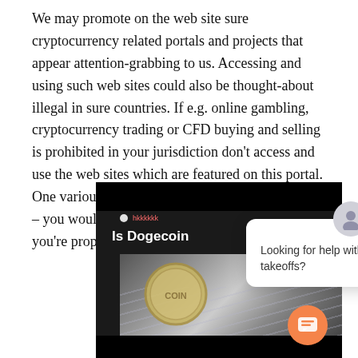We may promote on the web site sure cryptocurrency related portals and projects that appear attention-grabbing to us. Accessing and using such web sites could also be thought-about illegal in sure countries. If e.g. online gambling, cryptocurrency trading or CFD buying and selling is prohibited in your jurisdiction don't access and use the web sites which are featured on this portal. One various is to forecast with the Cindicator app – you would possibly even win crypto should you're proper!
[Figure (screenshot): Screenshot of a video thumbnail showing 'Is Dogecoin' text with a cryptocurrency coin on a keyboard, overlaid by a chat popup bubble saying 'Looking for help with your project takeoffs?' with an X close button and an orange chat icon button in the bottom right.]